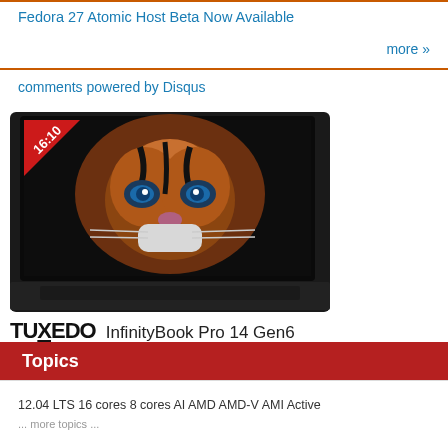Fedora 27 Atomic Host Beta Now Available
more »
comments powered by Disqus
[Figure (photo): Laptop (TUXEDO InfinityBook Pro 14 Gen6) with a tiger image on screen, showing a 16:10 aspect ratio badge in the top-left corner.]
TUXEDO InfinityBook Pro 14 Gen6
Topics
12.04 LTS 16 cores 8 cores AI AMD AMD-V AMI Active